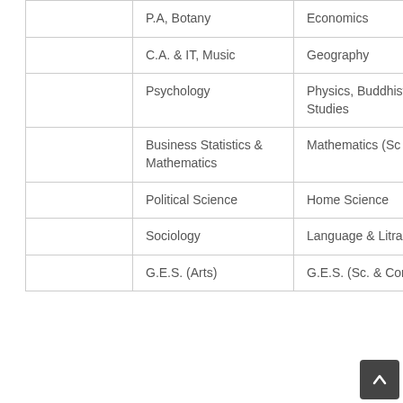|  |  |  |
| --- | --- | --- |
|  | P.A, Botany | Economics |
|  | C.A. & IT, Music | Geography |
|  | Psychology | Physics, Buddhist Studies |
|  | Business Statistics & Mathematics | Mathematics (Sc & Arts) |
|  | Political Science | Home Science |
|  | Sociology | Language & Litrature |
|  | G.E.S. (Arts) | G.E.S. (Sc. & Comm) |